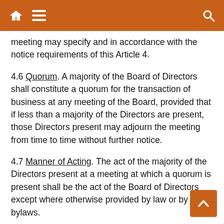Navigation header with home, menu, and search icons
meeting may specify and in accordance with the notice requirements of this Article 4.
4.6 Quorum. A majority of the Board of Directors shall constitute a quorum for the transaction of business at any meeting of the Board, provided that if less than a majority of the Directors are present, those Directors present may adjourn the meeting from time to time without further notice.
4.7 Manner of Acting. The act of the majority of the Directors present at a meeting at which a quorum is present shall be the act of the Board of Directors except where otherwise provided by law or by these bylaws.
4.8 Informal Action. In accordance with § 181.0821, Wis. Stats., action required to be taken at a meeting of the Board of Directors or any other action which may be taken at a meeting of the Board of